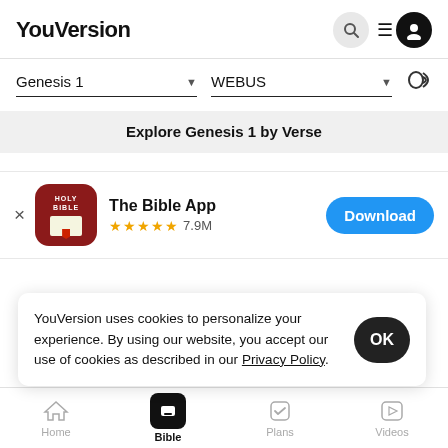YouVersion
Genesis 1   ▾   WEBUS   ▾
Explore Genesis 1 by Verse
[Figure (screenshot): The Bible App promo bar with Holy Bible icon, 4.5 stars, 7.9M ratings, and Download button]
YouVersion uses cookies to personalize your experience. By using our website, you accept our use of cookies as described in our Privacy Policy.
Home   Bible   Plans   Videos